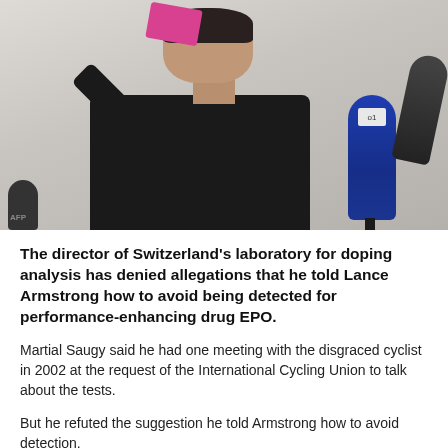[Figure (photo): A man in a black jacket holds up a pink card at a press conference with multiple microphones including a blue one in the foreground. The setting appears to be a formal press conference room.]
The director of Switzerland's laboratory for doping analysis has denied allegations that he told Lance Armstrong how to avoid being detected for performance-enhancing drug EPO.
Martial Saugy said he had one meeting with the disgraced cyclist in 2002 at the request of the International Cycling Union to talk about the tests.
But he refuted the suggestion he told Armstrong how to avoid detection.